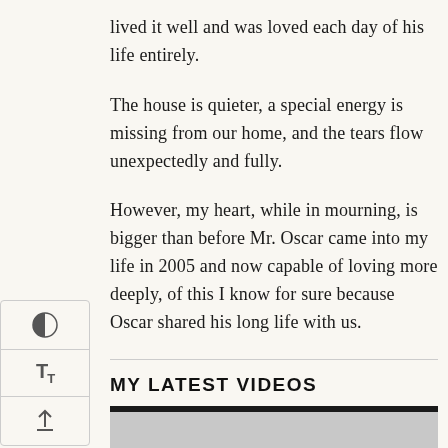lived it well and was loved each day of his life entirely.
The house is quieter, a special energy is missing from our home, and the tears flow unexpectedly and fully.
However, my heart, while in mourning, is bigger than before Mr. Oscar came into my life in 2005 and now capable of loving more deeply, of this I know for sure because Oscar shared his long life with us.
MY LATEST VIDEOS
[Figure (screenshot): Video thumbnail showing a dark top bar and light gray area with italic number '41' in white at bottom left]